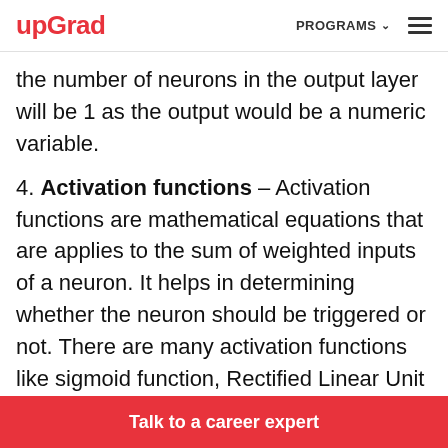upGrad | PROGRAMS ☰
the number of neurons in the output layer will be 1 as the output would be a numeric variable.
4. Activation functions – Activation functions are mathematical equations that are applies to the sum of weighted inputs of a neuron. It helps in determining whether the neuron should be triggered or not. There are many activation functions like sigmoid function, Rectified Linear Unit (ReLU) , Leaky ReLU, Hyperbolic Tangent,
Talk to a career expert